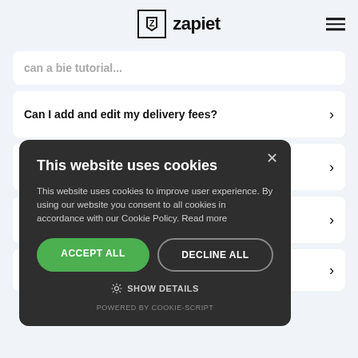zapiet
Can I add and edit my delivery fees?
...os de
...s
específicos?
[Figure (screenshot): Cookie consent dialog overlay on the Zapiet website with title 'This website uses cookies', body text, Accept All and Decline All buttons, Show Details, and Powered by Cookie-Script footer.]